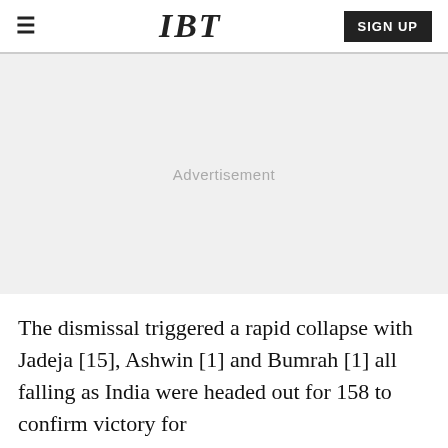IBT
[Figure (other): Advertisement placeholder area with light gray background and centered 'Advertisement' label]
The dismissal triggered a rapid collapse with Jadeja [15], Ashwin [1] and Bumrah [1] all falling as India were headed out for 158 to confirm victory for